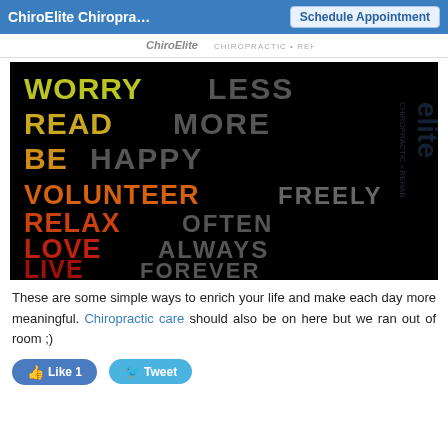ChiroElite Chiropra… | Schedule Appointment
[Figure (infographic): Black background motivational poster with colored bold words: WORRY LESS, READ MORE, BE HAPPY, VOLUNTEER FREELY, RELAX OFTEN, LOVE ALWAYS, LIVE FOREVER. Action words in gradient colors from yellow-green to red, secondary words in dark gray.]
These are some simple ways to enrich your life and make each day more meaningful. Chiropractic care should also be on here but we ran out of room ;)